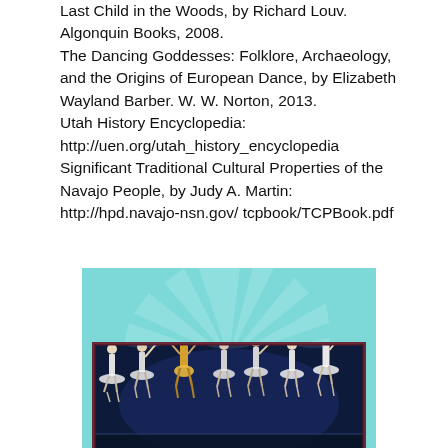Last Child in the Woods, by Richard Louv. Algonquin Books, 2008.
The Dancing Goddesses: Folklore, Archaeology, and the Origins of European Dance, by Elizabeth Wayland Barber. W. W. Norton, 2013.
Utah History Encyclopedia: http://uen.org/utah_history_encyclopedia
Significant Traditional Cultural Properties of the Navajo People, by Judy A. Martin: http://hpd.navajo-nsn.gov/ tcpbook/TCPBook.pdf
[Figure (illustration): Ballet West in the Garden advertisement for Red Butte Garden Amphitheatre. Teal/turquoise background with sunburst rays. Bold dark magenta title text 'BALLET WEST IN THE GARDEN', orange subtitle 'RED BUTTE GARDEN AMPHITHEATRE', and a dark-background inset photo of ballet dancers on stage in white tutus with one dancer in a golden costume.]